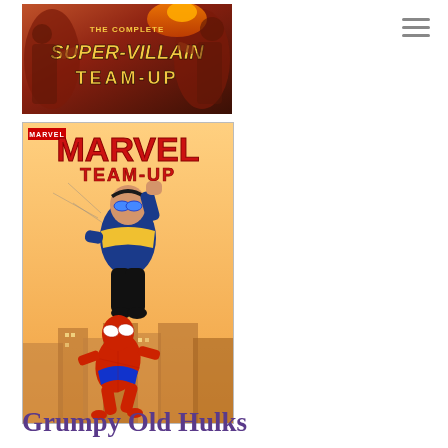[Figure (illustration): Comic book cover: The Complete Super-Villain Team-Up. Dark red and orange background with villain characters. Yellow stylized text logo reading 'THE COMPLETE SUPER-VILLAIN TEAM-UP'.]
[Figure (illustration): Comic book cover: Marvel Team-Up. Features two superheroes — Invincible (in blue and yellow costume) and Spider-Man (in red costume) — flying/swinging over a city. Red 'MARVEL TEAM-UP' logo at top.]
Grumpy Old Hulks